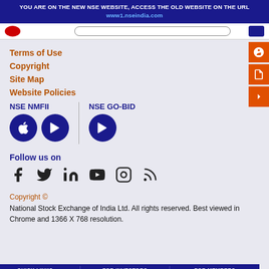YOU ARE ON THE NEW NSE WEBSITE, ACCESS THE OLD WEBSITE ON THE URL www1.nseindia.com
Terms of Use
Copyright
Site Map
Website Policies
[Figure (screenshot): NSE NMFII app icons (Apple and Google Play) and NSE GO-BID app icon (Google Play), shown as dark navy circular buttons with white icons]
Follow us on
[Figure (infographic): Social media icons: Facebook, Twitter, LinkedIn, YouTube, Instagram, RSS Feed]
Copyright © National Stock Exchange of India Ltd. All rights reserved. Best viewed in Chrome and 1366 X 768 resolution.
QUICK LINKS | FOR INVESTORS | FOR MEMBERS